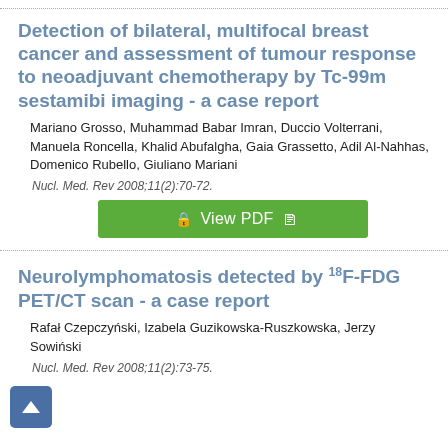Detection of bilateral, multifocal breast cancer and assessment of tumour response to neoadjuvant chemotherapy by Tc-99m sestamibi imaging - a case report
Mariano Grosso, Muhammad Babar Imran, Duccio Volterrani, Manuela Roncella, Khalid Abufalgha, Gaia Grassetto, Adil Al-Nahhas, Domenico Rubello, Giuliano Mariani
Nucl. Med. Rev 2008;11(2):70-72.
[Figure (other): Green 'View PDF' button with document icons]
Neurolymphomatosis detected by 18F-FDG PET/CT scan - a case report
Rafał Czepczyński, Izabela Guzikowska-Ruszkowska, Jerzy Sowiński
Nucl. Med. Rev 2008;11(2):73-75.